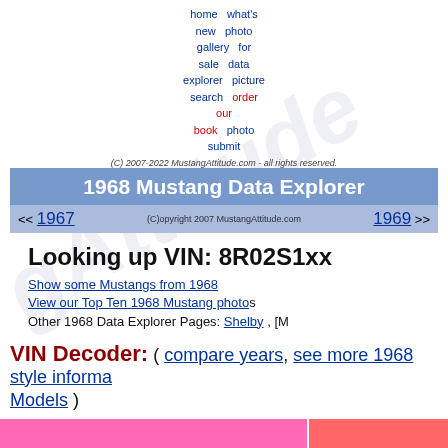home  what's new  photo gallery  for sale  data explorer  picture search  order our book  photo submit
(C) 2007-2022 MustangAttitude.com - all rights reserved.
1968 Mustang Data Explorer
<< 1967   (C)opyright 2007 MustangAttitude.com   1969 >>
Looking up VIN: 8R02S1xx
Show some Mustangs from 1968
View our Top Ten 1968 Mustang photos
Other 1968 Data Explorer Pages: Shelby , [M
VIN Decoder: ( compare years, see more 1968 style information  Models )